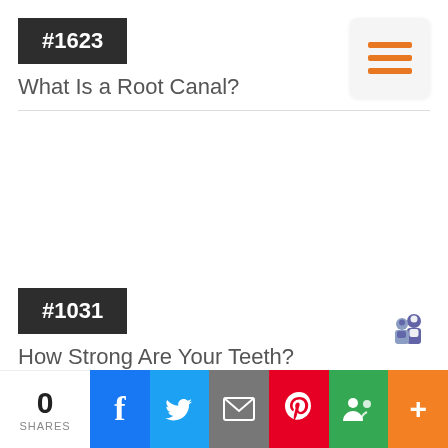#1623
What Is a Root Canal?
[Figure (other): Hamburger menu icon with three orange horizontal lines on a light gray rounded square button]
#1031
How Strong Are Your Teeth?
[Figure (other): Microsoft Teams icon (purple/blue team silhouette logo)]
0 SHARES | Facebook | Twitter | Email | Pinterest | Google+ | More